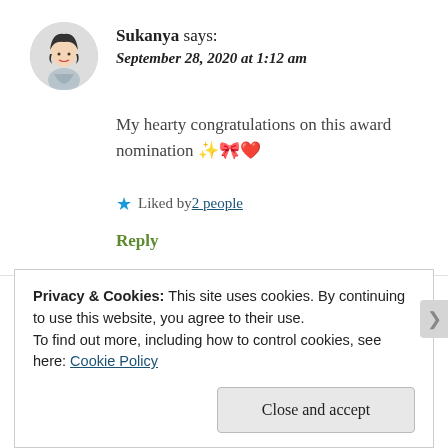Sukanya says:
September 28, 2020 at 1:12 am
My hearty congratulations on this award nomination ✨🎀❤️
★ Liked by 2 people
Reply
Privacy & Cookies: This site uses cookies. By continuing to use this website, you agree to their use.
To find out more, including how to control cookies, see here: Cookie Policy
Close and accept